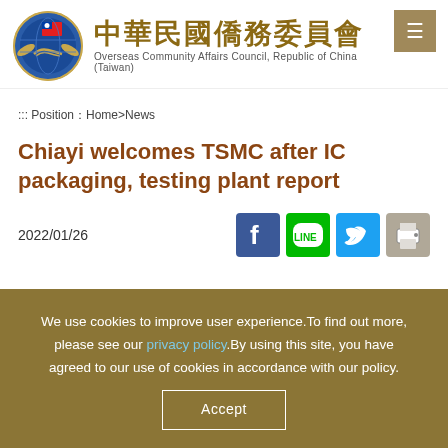中華民國僑務委員會 Overseas Community Affairs Council, Republic of China (Taiwan)
::: Position：Home>News
Chiayi welcomes TSMC after IC packaging, testing plant report
2022/01/26
[Figure (infographic): Social media sharing icons: Facebook, LINE, Twitter, Print]
We use cookies to improve user experience.To find out more, please see our privacy policy.By using this site, you have agreed to our use of cookies in accordance with our policy.
Accept